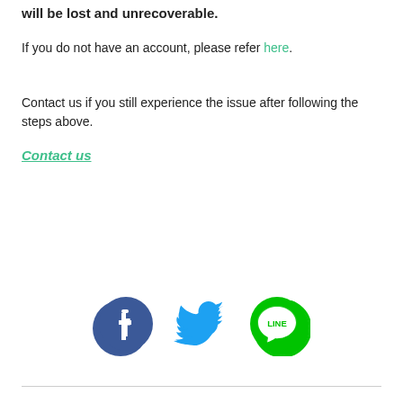will be lost and unrecoverable.
If you do not have an account, please refer here.
Contact us if you still experience the issue after following the steps above.
Contact us
[Figure (logo): Social media icons: Facebook (blue circle with f), Twitter (blue bird), LINE (green circle with LINE chat bubble)]